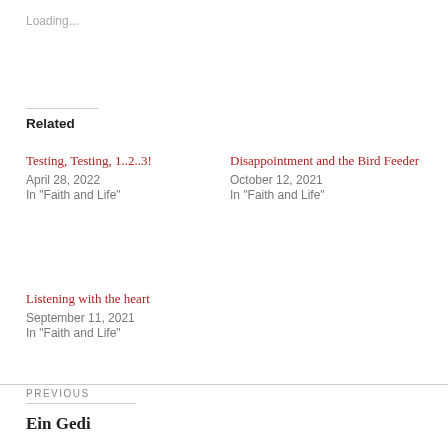Loading...
Related
Testing, Testing, 1..2..3!
April 28, 2022
In "Faith and Life"
Disappointment and the Bird Feeder
October 12, 2021
In "Faith and Life"
Listening with the heart
September 11, 2021
In "Faith and Life"
PREVIOUS
Ein Gedi